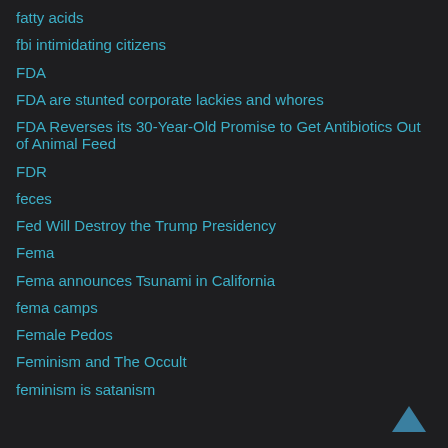fatty acids
fbi intimidating citizens
FDA
FDA are stunted corporate lackies and whores
FDA Reverses its 30-Year-Old Promise to Get Antibiotics Out of Animal Feed
FDR
feces
Fed Will Destroy the Trump Presidency
Fema
Fema announces Tsunami in California
fema camps
Female Pedos
Feminism and The Occult
feminism is satanism